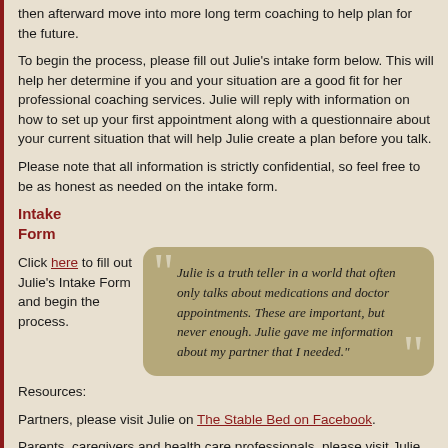then afterward move into more long term coaching to help plan for the future.
To begin the process, please fill out Julie's intake form below. This will help her determine if you and your situation are a good fit for her professional coaching services. Julie will reply with information on how to set up your first appointment along with a questionnaire about your current situation that will help Julie create a plan before you talk.
Please note that all information is strictly confidential, so feel free to be as honest as needed on the intake form.
Intake Form
Click here to fill out Julie's Intake Form and begin the process.
[Figure (illustration): Beige/tan rounded rectangle quote box with large decorative quotation marks. Contains italic text: "Julie is a truth teller in a world that often only talks about medications and doctor appointments. These are important, but never enough. Julie gave me information about my partner that I needed."]
Resources:
Partners, please visit Julie on The Stable Bed on Facebook.
Parents, caregivers and health care professionals, please visit Julie on The Stable Table on Facebook.